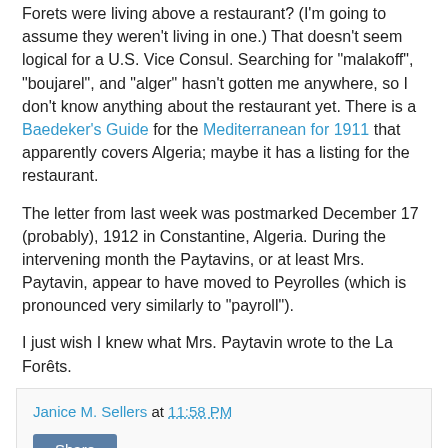Forets were living above a restaurant? (I'm going to assume they weren't living in one.) That doesn't seem logical for a U.S. Vice Consul. Searching for "malakoff", "boujarel", and "alger" hasn't gotten me anywhere, so I don't know anything about the restaurant yet. There is a Baedeker's Guide for the Mediterranean for 1911 that apparently covers Algeria; maybe it has a listing for the restaurant.

The letter from last week was postmarked December 17 (probably), 1912 in Constantine, Algeria. During the intervening month the Paytavins, or at least Mrs. Paytavin, appear to have moved to Peyrolles (which is pronounced very similarly to "payroll").

I just wish I knew what Mrs. Paytavin wrote to the La Forêts.
Janice M. Sellers at 11:58 PM
Share
No comments: